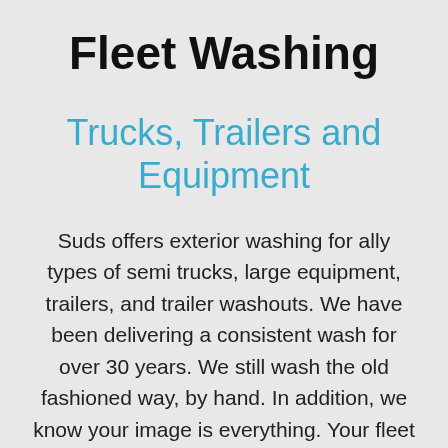Fleet Washing
Trucks, Trailers and Equipment
Suds offers exterior washing for ally types of semi trucks, large equipment, trailers, and trailer washouts.  We have been delivering a consistent wash for over 30 years.  We still wash the old fashioned way, by hand.  In addition, we know your image is everything.  Your fleet is a rolling billboard for your company.  This is why we remove dirt and